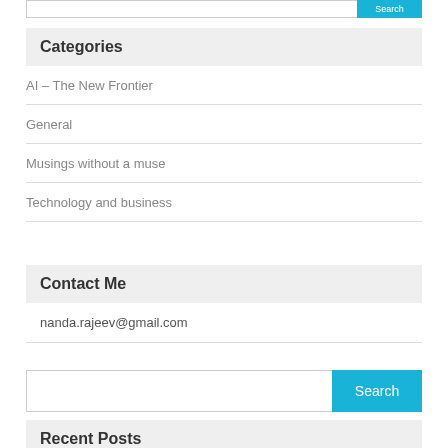Categories
AI – The New Frontier
General
Musings without a muse
Technology and business
Contact Me
nanda.rajeev@gmail.com
Recent Posts